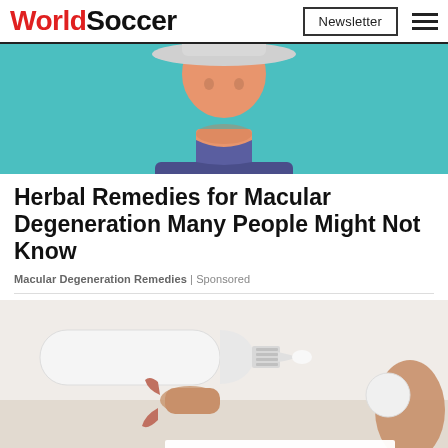WorldSoccer | Newsletter
[Figure (illustration): Animated illustration of a person wearing a hat on a teal background, cropped to show torso and lower face/neck area.]
Herbal Remedies for Macular Degeneration Many People Might Not Know
Macular Degeneration Remedies | Sponsored
[Figure (photo): Close-up photo of a tube of cream or ointment being squeezed, with a hand holding it on a light background. A white card/overlay is partially visible at the bottom.]